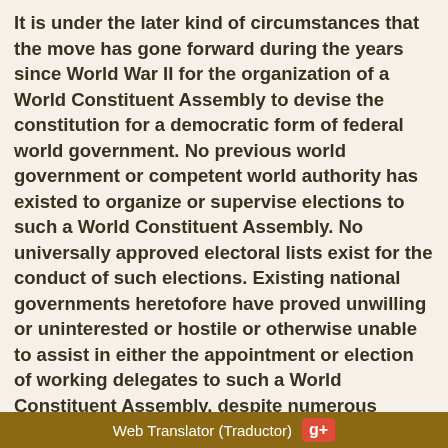It is under the later kind of circumstances that the move has gone forward during the years since World War II for the organization of a World Constituent Assembly to devise the constitution for a democratic form of federal world government. No previous world government or competent world authority has existed to organize or supervise elections to such a World Constituent Assembly. No universally approved electoral lists exist for the conduct of such elections. Existing national governments heretofore have proved unwilling or uninterested or hostile or otherwise unable to assist in either the appointment or election of working delegates to such a World Constituent Assembly, despite numerous appeals -- although these appeals are continuing.
Under the existing circumstances of global anarchy, of political turmoil in many parts of the world, of the suppression or non-functioning of democratic electoral procedures in many parts of the world, as well as of the unprecedented urgencies of many growing world-wide
Web Translator (Traductor) g+